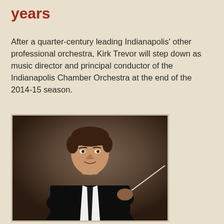years
After a quarter-century leading Indianapolis' other professional orchestra, Kirk Trevor will step down as music director and principal conductor of the Indianapolis Chamber Orchestra at the end of the 2014-15 season.
[Figure (photo): Portrait photo of Kirk Trevor, a man in a black suit with a white shirt and black tie, holding a conductor's baton, arms crossed, smiling, with a dark brown mottled background.]